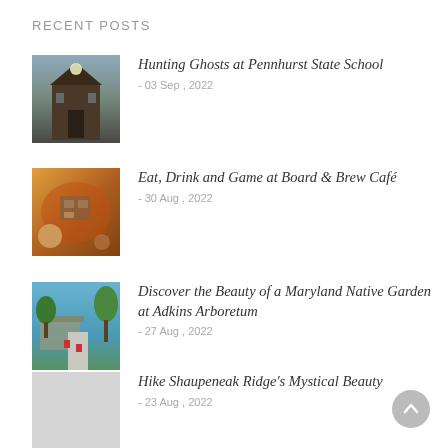RECENT POSTS
Hunting Ghosts at Pennhurst State School
- 03 Sep , 2022
Eat, Drink and Game at Board & Brew Café
- 30 Aug , 2022
Discover the Beauty of a Maryland Native Garden at Adkins Arboretum
- 27 Aug , 2022
Hike Shaupeneak Ridge's Mystical Beauty
- 23 Aug , 2022